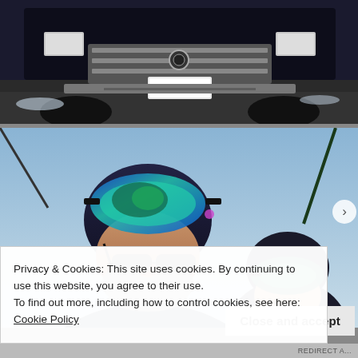[Figure (photo): Top portion of a photo showing the front grille and license plate of a dark truck or SUV in a snowy/wet parking area at night or dusk]
[Figure (photo): Selfie-style photo of two people wearing ski helmets and goggles on a ski lift or outdoor winter setting. The person in the foreground has blue reflective ski goggles on their helmet, dark sunglasses, and a grey beard. A second person with green-tinted goggles is visible behind them. Sky is light blue.]
Privacy & Cookies: This site uses cookies. By continuing to use this website, you agree to their use.
To find out more, including how to control cookies, see here:
Cookie Policy
Close and accept